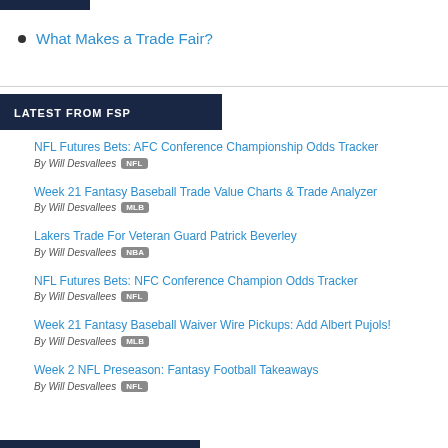What Makes a Trade Fair?
LATEST FROM FSP
NFL Futures Bets: AFC Conference Championship Odds Tracker
By Will Desvallees [NFL]
Week 21 Fantasy Baseball Trade Value Charts & Trade Analyzer
By Will Desvallees [MLB]
Lakers Trade For Veteran Guard Patrick Beverley
By Will Desvallees [NBA]
NFL Futures Bets: NFC Conference Champion Odds Tracker
By Will Desvallees [NFL]
Week 21 Fantasy Baseball Waiver Wire Pickups: Add Albert Pujols!
By Will Desvallees [MLB]
Week 2 NFL Preseason: Fantasy Football Takeaways
By Will Desvallees [NFL]